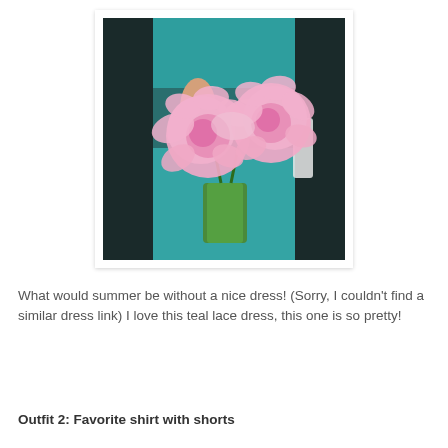[Figure (photo): A person wearing a teal lace dress holding a glass vase with large pink peony flowers in front of them.]
What would summer be without a nice dress! (Sorry, I couldn't find a similar dress link) I love this teal lace dress, this one is so pretty!
Outfit 2: Favorite shirt with shorts